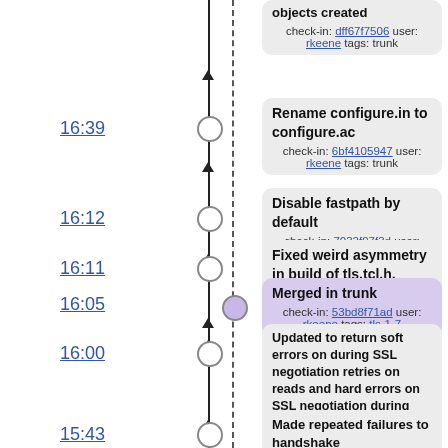objects created
check-in: dff67f7506 user: rkeene tags: trunk
16:39
Rename configure.in to configure.ac
check-in: 6bf4105947 user: rkeene tags: trunk
16:12
Disable fastpath by default
check-in: 7032f97f3d user: rkeene tags: trunk
16:11
Fixed weird asymmetry in build of tls.tcl.h, which was required for out-of-tree builds
check-in: 05099e9a1e user: rkeene tags: trunk
16:05
Merged in trunk
check-in: 53bd8f71ad user: rkeene tags: tls-1-7
16:00
Updated to return soft errors on during SSL negotiation retries on reads and hard errors on SSL negotiation during writes or handshake commands
check-in: b9557ba691 user: rkeene tags: trunk
15:43
Made repeated failures to handshake